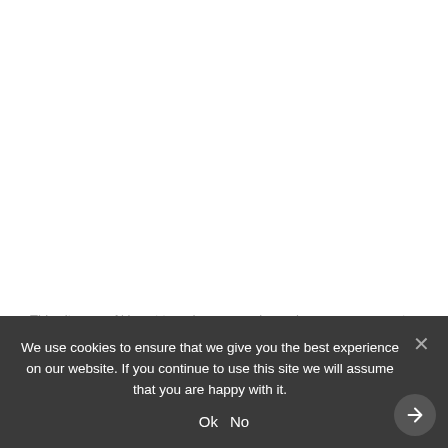This site uses Akismet to reduce spam. Learn how your...
We use cookies to ensure that we give you the best experience on our website. If you continue to use this site we will assume that you are happy with it.
Ok   No